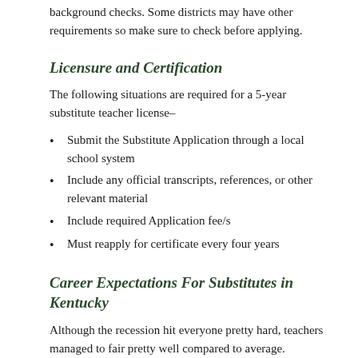background checks. Some districts may have other requirements so make sure to check before applying.
Licensure and Certification
The following situations are required for a 5-year substitute teacher license–
Submit the Substitute Application through a local school system
Include any official transcripts, references, or other relevant material
Include required Application fee/s
Must reapply for certificate every four years
Career Expectations For Substitutes in Kentucky
Although the recession hit everyone pretty hard, teachers managed to fair pretty well compared to average. Coming out of the recession has allowed school districts nationally